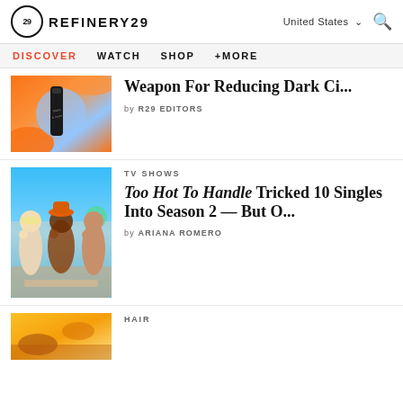REFINERY29 | United States | Search
DISCOVER | WATCH | SHOP | +MORE
[Figure (photo): Beauty product (black tube) against orange and blue background]
Weapon For Reducing Dark Ci...
by R29 EDITORS
[Figure (photo): Three women in swimwear sitting together watching TV]
TV SHOWS
Too Hot To Handle Tricked 10 Singles Into Season 2 — But O...
by ARIANA ROMERO
[Figure (photo): Hair-related food/product image with warm golden tones]
HAIR